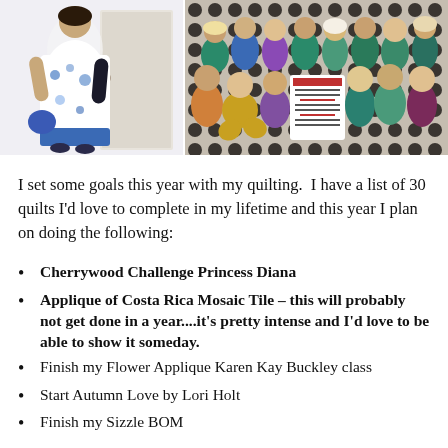[Figure (photo): Two photos side by side: left shows a woman in a floral dress posing, right shows a group of people at an event holding a sign.]
I set some goals this year with my quilting.  I have a list of 30 quilts I'd love to complete in my lifetime and this year I plan on doing the following:
Cherrywood Challenge Princess Diana
Applique of Costa Rica Mosaic Tile – this will probably not get done in a year....it's pretty intense and I'd love to be able to show it someday.
Finish my Flower Applique Karen Kay Buckley class
Start Autumn Love by Lori Holt
Finish my Sizzle BOM